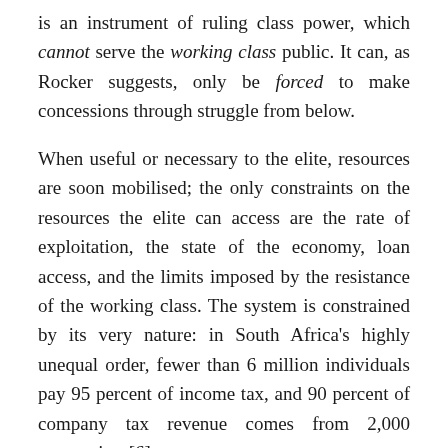is an instrument of ruling class power, which cannot serve the working class public. It can, as Rocker suggests, only be forced to make concessions through struggle from below.
When useful or necessary to the elite, resources are soon mobilised; the only constraints on the resources the elite can access are the rate of exploitation, the state of the economy, loan access, and the limits imposed by the resistance of the working class. The system is constrained by its very nature: in South Africa's highly unequal order, fewer than 6 million individuals pay 95 percent of income tax, and 90 percent of company tax revenue comes from 2,000 companies. [6]